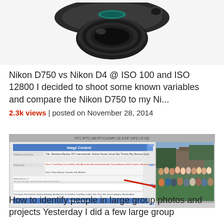[Figure (photo): Partial view of a camera (Nikon) lens/body from above, cropped at top]
Nikon D750 vs Nikon D4 @ ISO 100 and ISO 12800 I decided to shoot some known variables and compare the Nikon D750 to my Ni...
2.3k views | posted on November 28, 2014
[Figure (screenshot): Screenshot of a photo editing/cataloging software showing a group photo with a red arrow pointing to a list of names, alongside form fields for metadata]
How to identify people in large group photos and projects Yesterday I did a few large group photos. The editor can help identify...